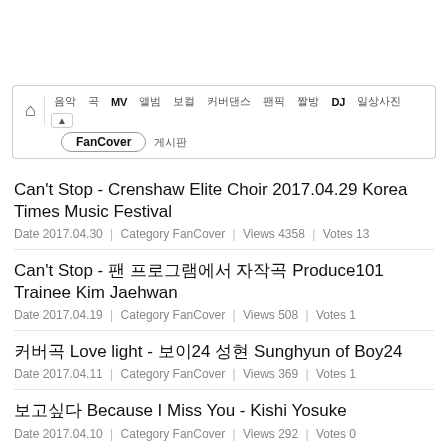[Figure (screenshot): Navigation bar with home icon and category tabs including 음악, 곡, MV, 앨범, 보컬, 커버댄스, 팬픽, 짤방, DJ, 일상사진 and a dropdown arrow, with second row showing FanCover (selected, circled) and 게시판]
Can't Stop - Crenshaw Elite Choir 2017.04.29 Korea Times Music Festival
Date 2017.04.30 | Category FanCover | Views 4358 | Votes 13
Can't Stop - 팬 프로그램에서 자작곡 Produce101 Trainee Kim Jaehwan
Date 2017.04.19 | Category FanCover | Views 508 | Votes 1
커버곡 Love light - 보이24 성현 Sunghyun of Boy24
Date 2017.04.11 | Category FanCover | Views 369 | Votes 1
보고싶다 Because I Miss You - Kishi Yosuke
Date 2017.04.10 | Category FanCover | Views 292 | Votes 0